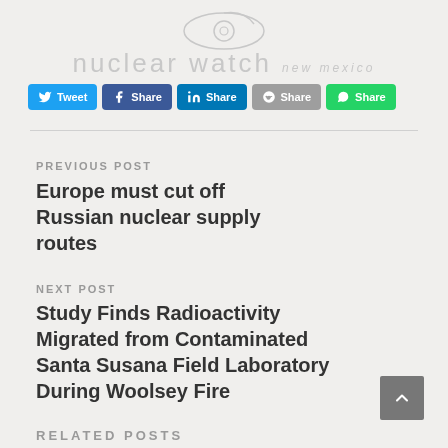nuclear watch new mexico
Tweet | Share | Share | Share | Share
PREVIOUS POST
Europe must cut off Russian nuclear supply routes
NEXT POST
Study Finds Radioactivity Migrated from Contaminated Santa Susana Field Laboratory During Woolsey Fire
RELATED POSTS